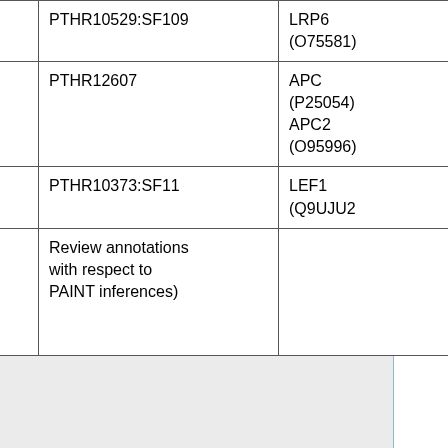| Week | PANTHER Family | Genes |
| --- | --- | --- |
|  | PTHR10529:SF109 | LRP6 (O75581) |
| Week 11 (11th-17th September) | PTHR12607 | APC (P25054) APC2 (O95996) |
|  | PTHR10373:SF11 | LEF1 (Q9UJU2) |
| Week 12-16 (18th September - 22nd October) | Review annotations with respect to PAINT inferences) |  |
The aim is to provide good annotation coverage for these Panther families across the 11 species in a 3-month time frame, followed by a 2-week period of annotation review in response to PAINT